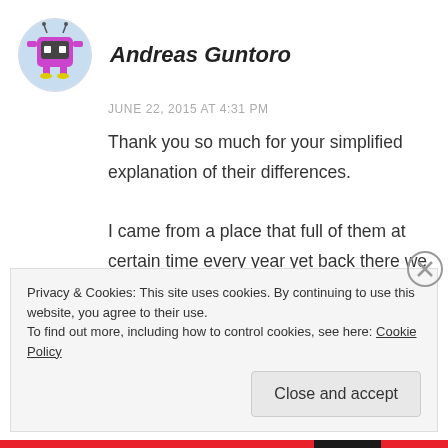[Figure (illustration): Cartoon avatar: a purple robot/monster character with antennae, arms, and yellow feet on a light blue circular background]
Andreas Guntoro
JUNE 22, 2015 AT 4:31 PM
Thank you so much for your simplified explanation of their differences.
I came from a place that full of them at certain time every year yet back there we called them with a same name.
REPLY
Privacy & Cookies: This site uses cookies. By continuing to use this website, you agree to their use.
To find out more, including how to control cookies, see here: Cookie Policy
Close and accept